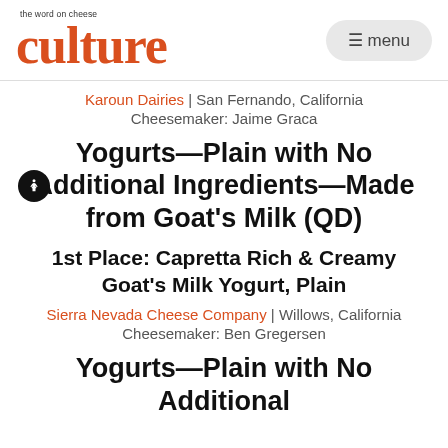culture: the word on cheese — menu
Karoun Dairies | San Fernando, California
Cheesemaker: Jaime Graca
Yogurts—Plain with No Additional Ingredients—Made from Goat's Milk (QD)
1st Place: Capretta Rich & Creamy Goat's Milk Yogurt, Plain
Sierra Nevada Cheese Company | Willows, California
Cheesemaker: Ben Gregersen
Yogurts—Plain with No Additional